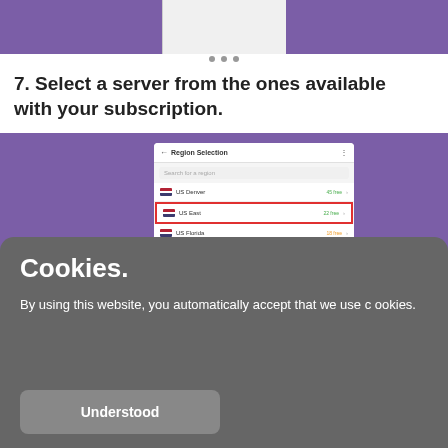[Figure (screenshot): Top portion of a phone/app screenshot showing purple background areas on left and right, with a white/gray center section and navigation dots below]
7. Select a server from the ones available with your subscription.
[Figure (screenshot): Mobile app screenshot showing Region Selection screen with a list of US servers (US Denver, US East highlighted in red box, US Florida, US Houston, US Las Vegas, US New York) with flags and status indicators, on a purple background]
Cookies.
By using this website, you automatically accept that we use cookies.
Understood